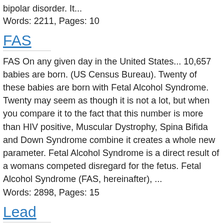bipolar disorder. It...
Words: 2211, Pages: 10
FAS
FAS On any given day in the United States... 10,657 babies are born. (US Census Bureau). Twenty of these babies are born with Fetal Alcohol Syndrome. Twenty may seem as though it is not a lot, but when you compare it to the fact that this number is more than HIV positive, Muscular Dystrophy, Spina Bifida and Down Syndrome combine it creates a whole new parameter. Fetal Alcohol Syndrome is a direct result of a womans competed disregard for the fetus. Fetal Alcohol Syndrome (FAS, hereinafter), ...
Words: 2898, Pages: 15
Lead
Lead Lead is a lustrous, silvery metal that tarnishes in the